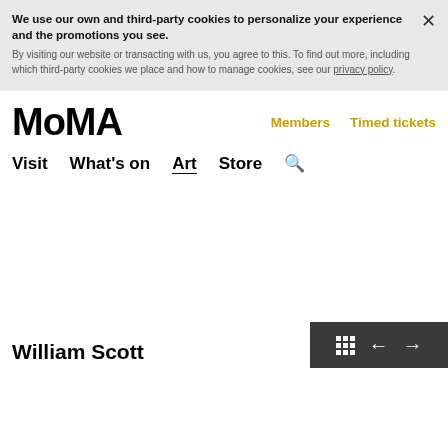We use our own and third-party cookies to personalize your experience and the promotions you see. By visiting our website or transacting with us, you agree to this. To find out more, including which third-party cookies we place and how to manage cookies, see our privacy policy.
MoMA
Members   Timed tickets
Visit   What's on   Art   Store   🔍
William Scott